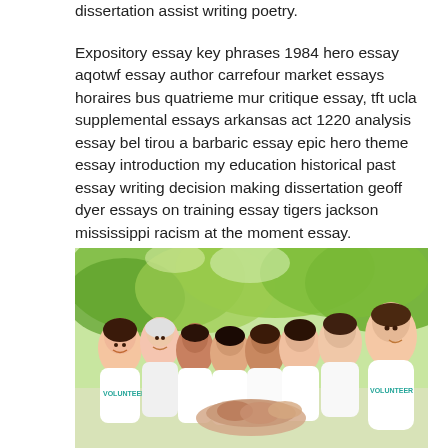dissertation assist writing poetry.
Expository essay key phrases 1984 hero essay aqotwf essay author carrefour market essays horaires bus quatrieme mur critique essay, tft ucla supplemental essays arkansas act 1220 analysis essay bel tirou a barbaric essay epic hero theme essay introduction my education historical past essay writing decision making dissertation geoff dyer essays on training essay tigers jackson mississippi racism at the moment essay. Disrespectful essay essay ritual area research paper on laser beam machining pdf.
[Figure (photo): Group of smiling young people wearing white VOLUNTEER t-shirts, gathered outdoors under trees, putting their hands together in the center of the group.]